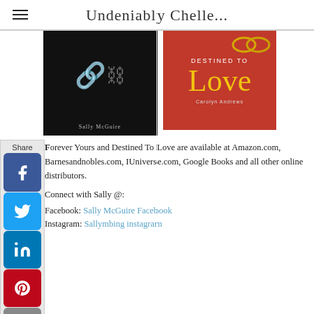Undeniably Chelle...
[Figure (photo): Book cover of Sally McGuire - dark background with chains/bracelets]
[Figure (photo): Book cover of Destined to Love - red background with gold rings and yellow script title]
Forever Yours and Destined To Love are available at Amazon.com, Barnesandnobles.com, IUniverse.com, Google Books and all other online distributors.
Connect with Sally @:
Facebook: Sally McGuire Facebook
Instagram: Sallymbing instagram